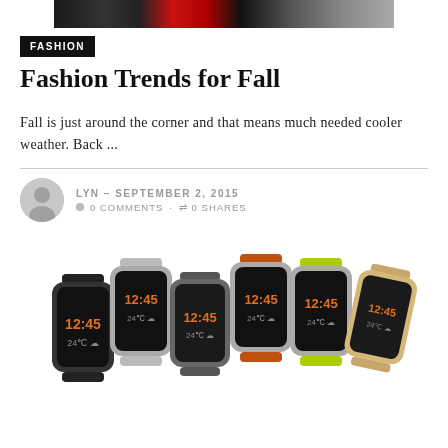[Figure (photo): Top cropped fashion photo showing clothing items in black, red, and white]
FASHION
Fashion Trends for Fall
Fall is just around the corner and that means much needed cooler weather. Back ...
LYN – SEPTEMBER 2, 2015  0 COMMENTS · 0 SHARES
[Figure (photo): Six Samsung Galaxy Gear smartwatches in various colors (black, silver, grey, orange, yellow-green, gold) displayed side by side showing 12:45 time on their screens]